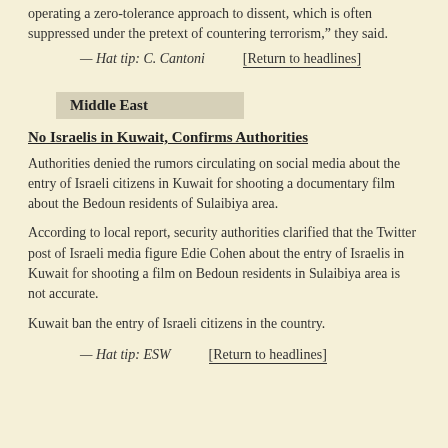operating a zero-tolerance approach to dissent, which is often suppressed under the pretext of countering terrorism,” they said.
— Hat tip: C. Cantoni    [Return to headlines]
Middle East
No Israelis in Kuwait, Confirms Authorities
Authorities denied the rumors circulating on social media about the entry of Israeli citizens in Kuwait for shooting a documentary film about the Bedoun residents of Sulaibiya area.
According to local report, security authorities clarified that the Twitter post of Israeli media figure Edie Cohen about the entry of Israelis in Kuwait for shooting a film on Bedoun residents in Sulaibiya area is not accurate.
Kuwait ban the entry of Israeli citizens in the country.
— Hat tip: ESW    [Return to headlines]